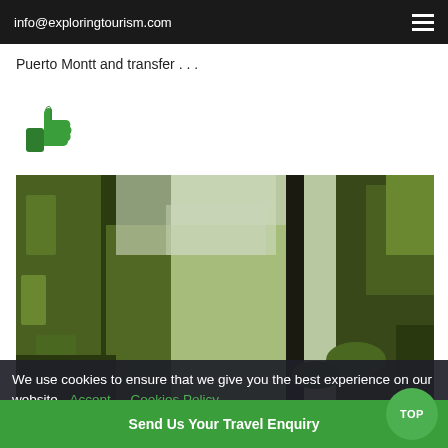info@exploringtourism.com
Puerto Montt and transfer . . .
[Figure (illustration): Green thumbs-up emoji icon]
[Figure (photo): Dense forest with moss-covered tree trunks and tall trees with green foliage against a pale sky]
We use cookies to ensure that we give you the best experience on our website  Accept   Cookies Policy
Send Us Your Travel Enquiry